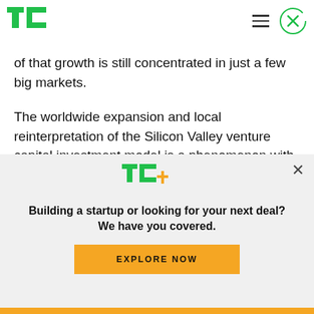TechCrunch header with logo, hamburger menu, and close button
of that growth is still concentrated in just a few big markets.
The worldwide expansion and local reinterpretation of the Silicon Valley venture capital investment model is a phenomenon with which market participants (founders and funders alike) must
[Figure (logo): TC+ logo in green and yellow]
Building a startup or looking for your next deal? We have you covered.
EXPLORE NOW